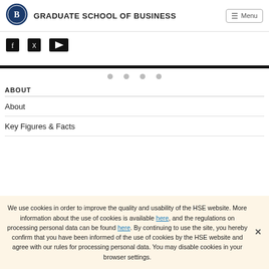GRADUATE SCHOOL OF BUSINESS
[Figure (logo): HSE university circular logo in dark blue]
[Figure (screenshot): Social media icons (partially visible) - appears to be share/follow icons in black]
ABOUT
About
Key Figures & Facts
We use cookies in order to improve the quality and usability of the HSE website. More information about the use of cookies is available here, and the regulations on processing personal data can be found here. By continuing to use the site, you hereby confirm that you have been informed of the use of cookies by the HSE website and agree with our rules for processing personal data. You may disable cookies in your browser settings.